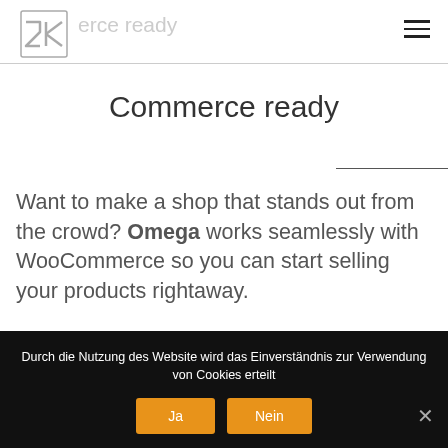Commerce ready
Commerce ready
Want to make a shop that stands out from the crowd? Omega works seamlessly with WooCommerce so you can start selling your products rightaway.
Durch die Nutzung des Website wird das Einverständnis zur Verwendung von Cookies erteilt